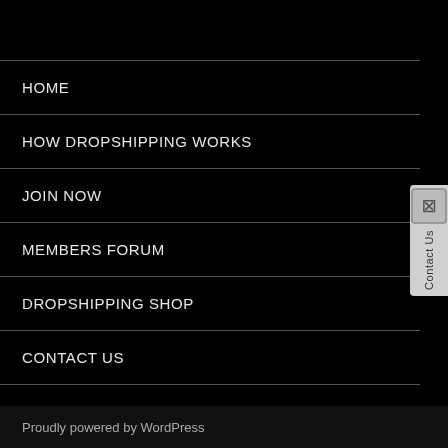HOME
HOW DROPSHIPPING WORKS
JOIN NOW
MEMBERS FORUM
DROPSHIPPING SHOP
CONTACT US
TESTIMONIALS
HOSTING
Proudly powered by WordPress